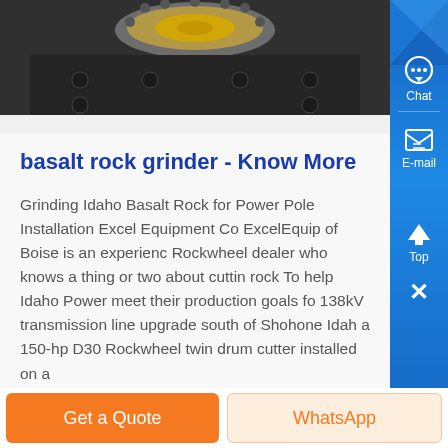[Figure (photo): Top portion of a basalt rock grinding machine, dark metallic surface with circular mechanical component visible]
basalt rock grinder - Know More
Grinding Idaho Basalt Rock for Power Pole Installation Excel Equipment Co ExcelEquip of Boise is an experienc Rockwheel dealer who knows a thing or two about cuttin rock To help Idaho Power meet their production goals fo 138kV transmission line upgrade south of Shohone Idah a 150-hp D30 Rockwheel twin drum cutter installed on a
[Figure (photo): Bottom portion showing dark industrial machinery for rock grinding]
Get a Quote
WhatsApp